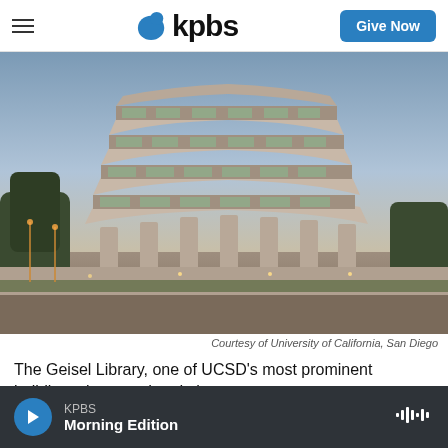kpbs | Give Now
[Figure (photo): Exterior photograph of the Geisel Library at UC San Diego, a distinctive brutalist architecture building with stacked concrete floors at dusk/twilight]
Courtesy of University of California, San Diego
The Geisel Library, one of UCSD's most prominent buildings, in an undated photo.
KPBS Morning Edition